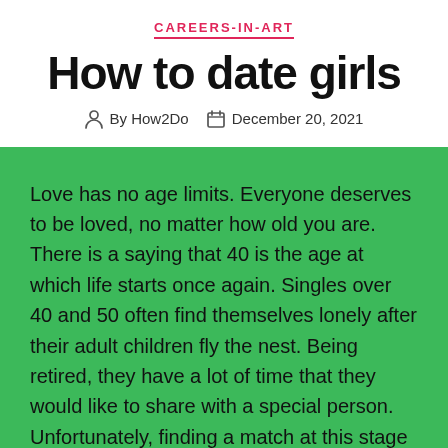CAREERS-IN-ART
How to date girls
By How2Do   December 20, 2021
Love has no age limits. Everyone deserves to be loved, no matter how old you are. There is a saying that 40 is the age at which life starts once again. Singles over 40 and 50 often find themselves lonely after their adult children fly the nest. Being retired, they have a lot of time that they would like to share with a special person. Unfortunately, finding a match at this stage of life can be quite difficult. Most local men and women of the same age group are unavailable since they have their families.